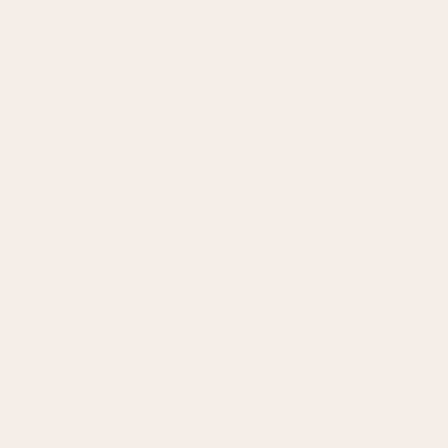reactions but still leave clear memories and pangs of nostalgia.
Sanchez did most of her work in isolation (Introspection Kit) that her bio-mom ga... term personfriend in January, Naomee... the relationship, but remove the painf...
Rather than taking the traditional teen... March integrating the NeuroTechWiki... module. So buffed, she only took a we... grok the rough form of the structures ... that, she says, "it was all mechanical ... relegated to her coprocessor while pa...
Naomee Sanchez is considering Ninte... will wait another 24 hours for counter...
1 comment
Who Killed Amanda Pal...
Submitted by Virge on Sun, May 3, 2009 - 0...
in  Grey Matter  |  Verse
I simulate my death in different forms